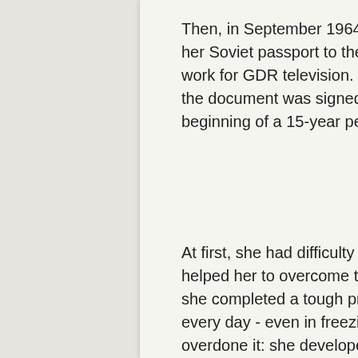Then, in September 1964, Eva Siao applied for Chinese citizenship after returning her Soviet passport to the consulate. With this new status, she had to give up her work for GDR television. In October 1964, Eva Siao received Chinese citizenship - the document was signed by Zhou Enlai, whom she admired. This also marked the beginning of a 15-year period of persecution.
At first, she had difficulty finding a new job. A kind of “sports addiction” apparently helped her to overcome this time at first. Eva Siao had always loved to swim. Now she completed a tough program of gymnastics, cold showers and 2000 meter swims every day - even in freezing weather. However, in this case she had probably overdone it: she developed respiratory problems, a heart condition was diagnosed and rest was initially prescribed to the authorities.